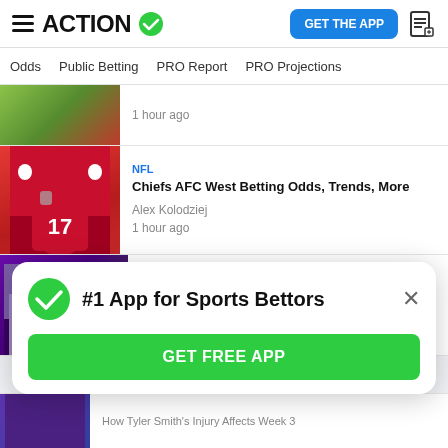ACTION
Odds  Public Betting  PRO Report  PRO Projections
[Figure (photo): Partial sports image at top]
1 hour ago
[Figure (photo): Kansas City Chiefs player #17 in red uniform with hands raised]
NFL
Chiefs AFC West Betting Odds, Trends, More
Alex Kolodziej
1 hour ago
[Figure (photo): Stadium exterior with M&T Bank Stadium sign]
GENERAL
DraftKings Granted Initial Approval for Maryland Sportsbook
#1 App for Sports Bettors
GET FREE APP